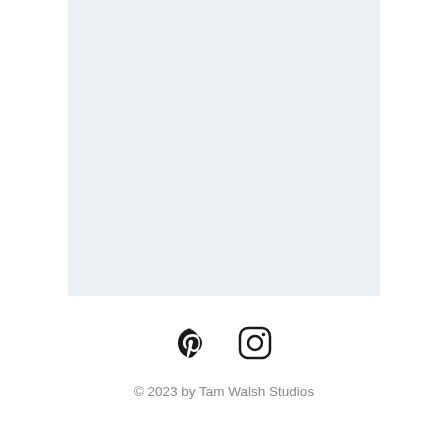[Figure (other): Light gray/blue rectangular background area representing a website content block or image placeholder]
[Figure (logo): Pinterest and Instagram social media icons displayed side by side]
© 2023 by Tam Walsh Studios